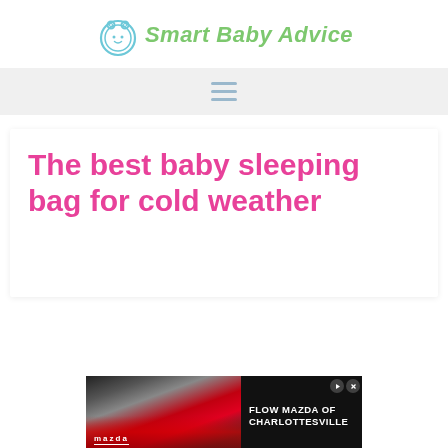Smart Baby Advice
[Figure (logo): Smart Baby Advice logo with baby face icon and green italic text]
[Figure (other): Hamburger menu icon with three horizontal lines]
The best baby sleeping bag for cold weather
[Figure (other): Mazda advertisement banner showing a car and text FLOW MAZDA OF CHARLOTTESVILLE]